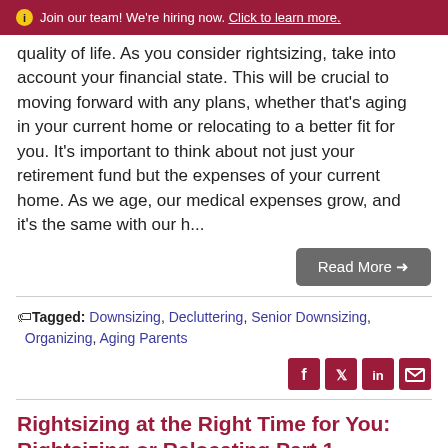Join our team! We're hiring now. Click to learn more.
quality of life. As you consider rightsizing, take into account your financial state. This will be crucial to moving forward with any plans, whether that's aging in your current home or relocating to a better fit for you. It's important to think about not just your retirement fund but the expenses of your current home. As we age, our medical expenses grow, and it's the same with our h...
Read More →
Tagged: Downsizing, Decluttering, Senior Downsizing, Organizing, Aging Parents
[Figure (other): Social media share icons: Facebook, Twitter, LinkedIn, Email]
Rightsizing at the Right Time for You: Rightsizing or Relocating Part 1
Posted by Ashley Eiserman on May 2, 2022 at 9:30 AM